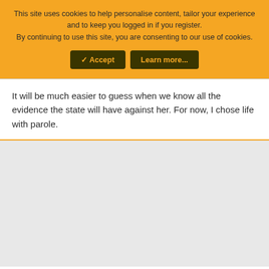This site uses cookies to help personalise content, tailor your experience and to keep you logged in if you register.
By continuing to use this site, you are consenting to our use of cookies.
[Figure (other): Cookie consent banner with two buttons: Accept (checkmark icon) and Learn more...]
It will be much easier to guess when we know all the evidence the state will have against her. For now, I chose life with parole.